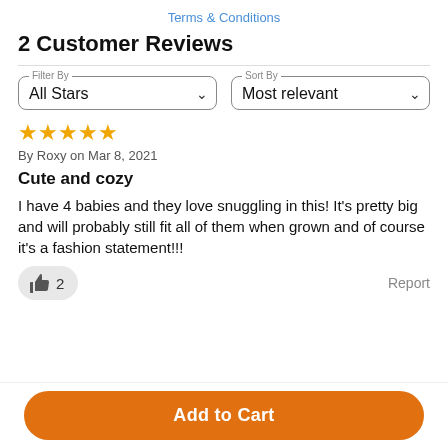Terms & Conditions
2 Customer Reviews
Filter By: All Stars | Sort By: Most relevant
★★★★★ By Roxy on Mar 8, 2021
Cute and cozy
I have 4 babies and they love snuggling in this! It's pretty big and will probably still fit all of them when grown and of course it's a fashion statement!!!
👍 2   Report
Add to Cart